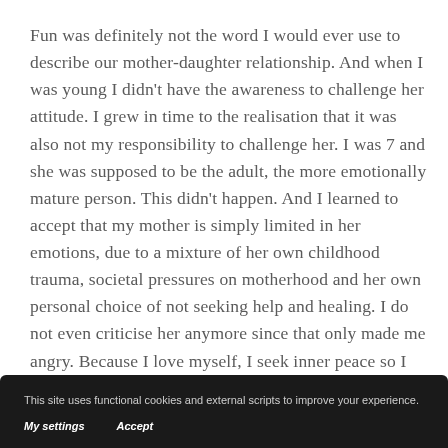Fun was definitely not the word I would ever use to describe our mother-daughter relationship. And when I was young I didn't have the awareness to challenge her attitude. I grew in time to the realisation that it was also not my responsibility to challenge her. I was 7 and she was supposed to be the adult, the more emotionally mature person. This didn't happen. And I learned to accept that my mother is simply limited in her emotions, due to a mixture of her own childhood trauma, societal pressures on motherhood and her own personal choice of not seeking help and healing. I do not even criticise her anymore since that only made me angry. Because I love myself, I seek inner peace so I am forgiving her by understanding her and setting my own boundaries in how I relate to her.
This site uses functional cookies and external scripts to improve your experience.
My settings   Accept